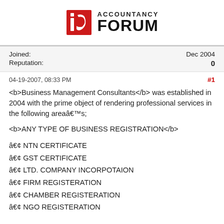[Figure (logo): Accountancy Forum logo with red stylized 'ia' icon and bold ACCOUNTANCY FORUM text]
Joined:
Reputation:
Dec 2004
0
04-19-2007, 08:33 PM
#1
<b>Business Management Consultants</b> was established in 2004 with the prime object of rendering professional services in the following areaâ€™s;
<b>ANY TYPE OF BUSINESS REGISTRATION</b>
â€¢ NTN CERTIFICATE
â€¢ GST CERTIFICATE
â€¢ LTD. COMPANY INCORPOTAION
â€¢ FIRM REGISTERATION
â€¢ CHAMBER REGISTERATION
â€¢ NGO REGISTERATION